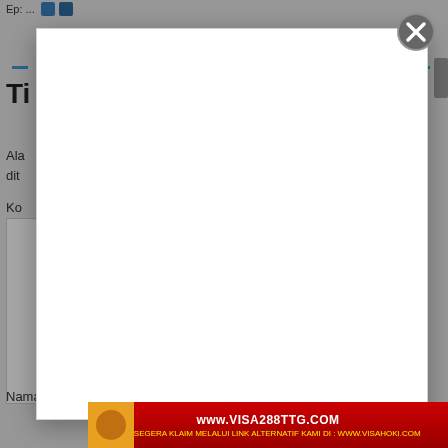Ep: ...
Ti...
Ala... dit...
Ko...
[Figure (screenshot): Modal dialog popup overlay on a web page with a close (X) button in the top-right corner]
Nama...
[Figure (screenshot): Ad banner showing www.VISA288TTG.COM with text AYO SEGERA KLAIM MELALUI LINK ALTERNATIF KAMI DI : WWW.VISAHOKI.COM on red background]